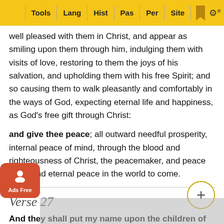Tools | Lang | Hist | Pas | Per | Site
well pleased with them in Christ, and appear as smiling upon them through him, indulging them with visits of love, restoring to them the joys of his salvation, and upholding them with his free Spirit; and so causing them to walk pleasantly and comfortably in the ways of God, expecting eternal life and happiness, as God's free gift through Christ:
and give thee peace; all outward needful prosperity, internal peace of mind, through the blood and righteousness of Christ, the peacemaker, and peace giver, and eternal peace in the world to come.
Verse 27
And they shall put my name upon the children of Israel,.... Call them name of the